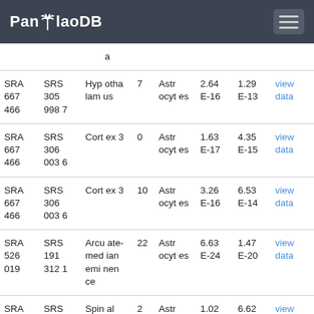PanglaoDB
| SRA | SRS | Tissue | Clusters | Cell type | Value1 | Value2 | Link |
| --- | --- | --- | --- | --- | --- | --- | --- |
| SRA667466 | SRS3059987 | Hypothalamus | 7 | Astrocytes | 2.64E-16 | 1.29E-13 | view data |
| SRA667466 | SRS3060036 | Cortex 3 | 0 | Astrocytes | 1.63E-17 | 4.35E-15 | view data |
| SRA667466 | SRS3060036 | Cortex 3 | 10 | Astrocytes | 3.26E-16 | 6.53E-14 | view data |
| SRA526019 | SRS1913121 | Arcuate-median eminence | 22 | Astrocytes | 6.63E-24 | 1.47E-20 | view data |
| SRA667466 | SRS3059941 | Spinal cord | 2 | Astrocytes | 1.02E-20 | 6.62E-18 | view data |
|  |  | Hipp |  |  |  |  |  |